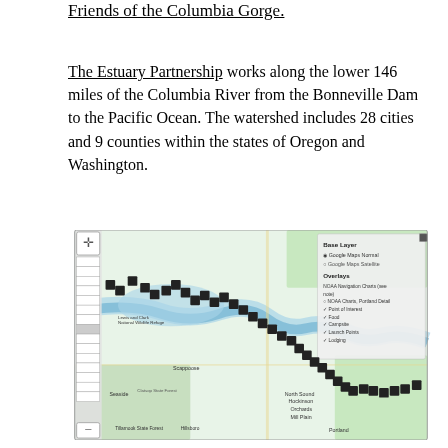Friends of the Columbia Gorge.
The Estuary Partnership works along the lower 146 miles of the Columbia River from the Bonneville Dam to the Pacific Ocean. The watershed includes 28 cities and 9 counties within the states of Oregon and Washington.
[Figure (map): Interactive map of the Columbia River Estuary region showing the lower Columbia River from Bonneville Dam to the Pacific Ocean, with map markers indicating points of interest, food, campsite, launch points, and lodging. Map includes a legend panel showing Base Layer options (Google Maps Normal, Google Maps Satellite) and Overlays (NOAA Navigation Charts, NOAA Charts Portland Detail, Point of Interest, Food, Campsite, Launch Points, Lodging). Geographic features include the Columbia River winding through Oregon and Washington, with cities like Portland, Hillsboro, Scappoose, Seaside, and Tillamook State Forest visible.]